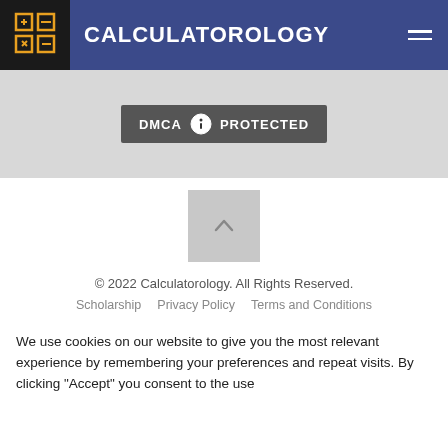CALCULATOROLOGY
[Figure (logo): DMCA Protected badge with lock icon]
[Figure (other): Up arrow navigation button]
© 2022 Calculatorology. All Rights Reserved.
Scholarship   Privacy Policy   Terms and Conditions
We use cookies on our website to give you the most relevant experience by remembering your preferences and repeat visits. By clicking "Accept" you consent to the use